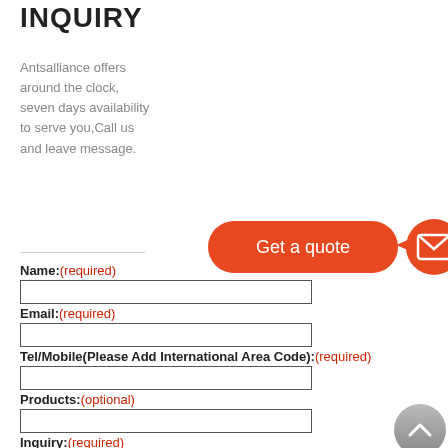INQUIRY
Antsalliance offers around the clock, seven days availability to serve you,Call us and leave message.
[Figure (infographic): Orange rounded rectangle button with text 'Get a quote' and an arrow pointing to an orange circle with a mail/envelope icon.]
Name:(required)
Email:(required)
Tel/Mobile(Please Add International Area Code):(required)
Products:(optional)
Inquiry:(required)